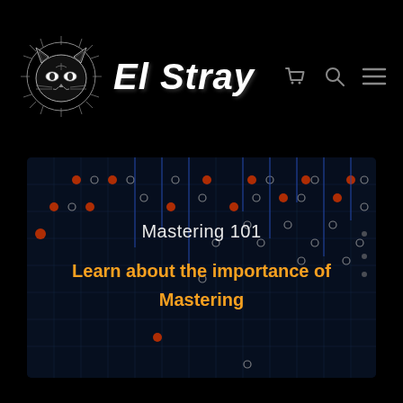El Stray
[Figure (screenshot): Website screenshot showing El Stray brand with cat logo, navigation icons (cart, search, menu), and a hero banner for 'Mastering 101' with text 'Learn about the importance of Mastering' on a dark blue music sequencer background]
Mastering 101
Learn about the importance of Mastering